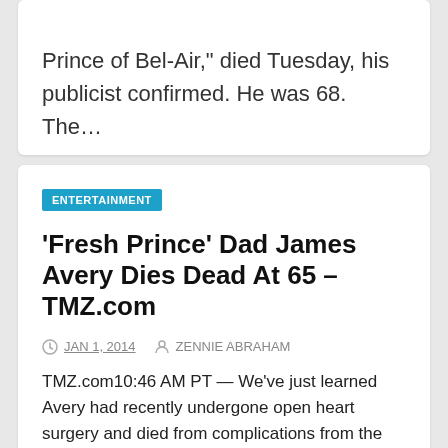Prince of Bel-Air," died Tuesday, his publicist confirmed. He was 68. The…
ENTERTAINMENT
'Fresh Prince' Dad James Avery Dies Dead At 65 – TMZ.com
JAN 1, 2014   ZENNIE ABRAHAM
TMZ.com10:46 AM PT — We've just learned Avery had recently undergone open heart surgery and died from complications from the operation. update grey gray bar. James Avery — the beloved